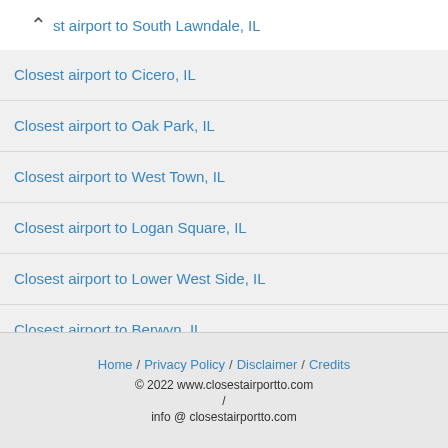st airport to South Lawndale, IL
Closest airport to Cicero, IL
Closest airport to Oak Park, IL
Closest airport to West Town, IL
Closest airport to Logan Square, IL
Closest airport to Lower West Side, IL
Closest airport to Berwyn, IL
Closest airport to Belmont Cragin, IL
Home / Privacy Policy / Disclaimer / Credits © 2022 www.closestairportto.com / info @ closestairportto.com